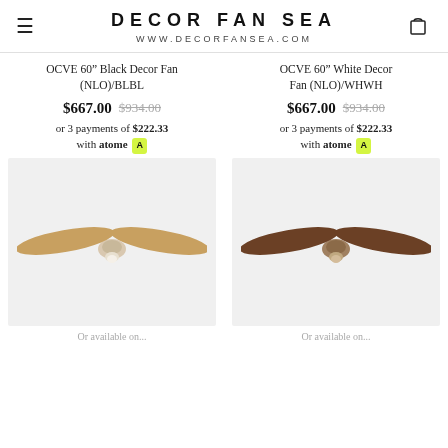DECOR FAN SEA
WWW.DECORFANSEA.COM
OCVE 60" Black Decor Fan (NLO)/BLBL
OCVE 60" White Decor Fan (NLO)/WHWH
$667.00  $934.00
or 3 payments of $222.33 with atome A
$667.00  $934.00
or 3 payments of $222.33 with atome A
[Figure (photo): Ceiling fan with light wood blades on grey background, viewed from below at slight angle]
[Figure (photo): Ceiling fan with dark wood/espresso blades on grey background, viewed from below at slight angle]
Or available on...
Or available on...